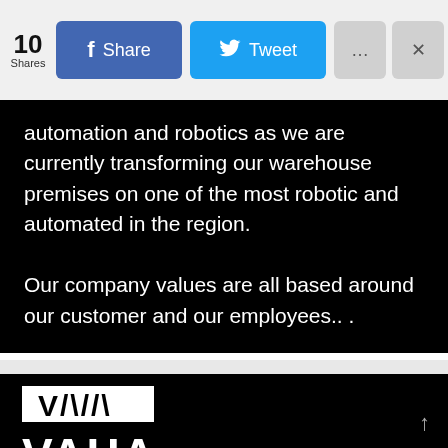[Figure (screenshot): Social share bar showing 10 Shares, Facebook Share button (blue), Twitter Tweet button (light blue), more options button (gray), and close button (gray)]
automation and robotics as we are currently transforming our warehouse premises on one of the most robotic and automated in the region.

Our company values are all based around our customer and our employees.. .
[Figure (logo): VAHA logo: white rectangle containing stylized V/A/H/A mark in black, followed by large white VAHA text below on black background]